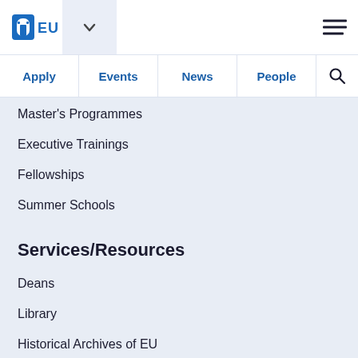[Figure (logo): EUI (European University Institute) logo - blue arch icon with EUI text]
Apply | Events | News | People | Search
Master's Programmes
Executive Trainings
Fellowships
Summer Schools
Services/Resources
Deans
Library
Historical Archives of EU
Support Services